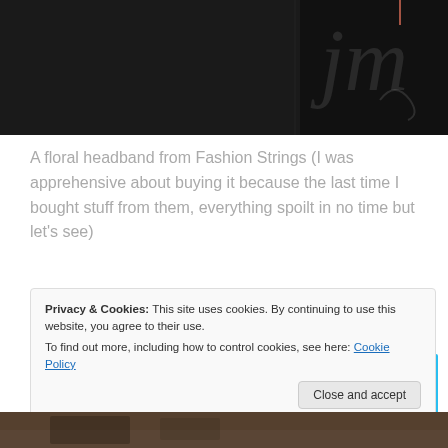[Figure (photo): Dark background image with cursive/script white text, partial view of a fashion or lifestyle brand logo]
A floral headband from Fashion Strings (I was apprehensive about buying it because the last time I bought stuff from them, everything spoilt in no time but let's see)
[Figure (other): Advertisement banner for DayOne app - Your Journal for life, light blue background with phone mockup]
Privacy & Cookies: This site uses cookies. By continuing to use this website, you agree to their use.
To find out more, including how to control cookies, see here: Cookie Policy
Close and accept
[Figure (photo): Bottom portion of another photo, dark brown/tan tones]